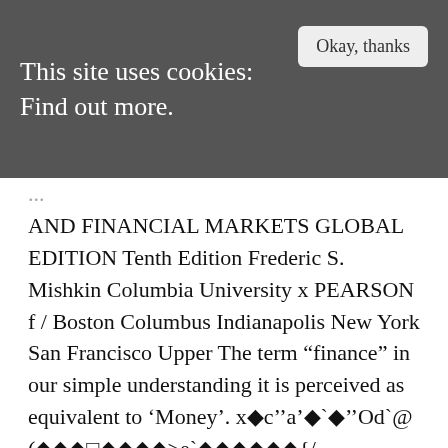This site uses cookies: Find out more.
AND FINANCIAL MARKETS GLOBAL EDITION Tenth Edition Frederic S. Mishkin Columbia University x PEARSON f / Boston Columbus Indianapolis New York San Francisco Upper The term “finance” in our simple understanding it is perceived as equivalent to ‘Money’. x�c’’a’�`�’’Od`@ (���□����>e`������{/ *���B�F��+��. 0000001115 00000 n Economics of Money, Banking and Financial Markets: Keeps Students Focused and Motivated A unifying, analytic framework uses a few basic